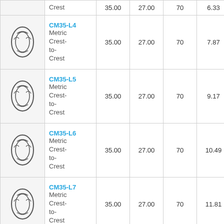| Image | Part / Description | Col3 | Col4 | Col5 | Col6 | Col7 |
| --- | --- | --- | --- | --- | --- | --- |
| [spring] | Crest | 35.00 | 27.00 | 70 | 6.33 | 13... |
| [spring] | CM35-L4
Metric Crest-to-Crest | 35.00 | 27.00 | 70 | 7.87 | 16 |
| [spring] | CM35-L5
Metric Crest-to-Crest | 35.00 | 27.00 | 70 | 9.17 | 19 |
| [spring] | CM35-L6
Metric Crest-to-Crest | 35.00 | 27.00 | 70 | 10.49 | 22 |
| [spring] | CM35-L7
Metric Crest-to-Crest | 35.00 | 27.00 | 70 | 11.81 | 25 |